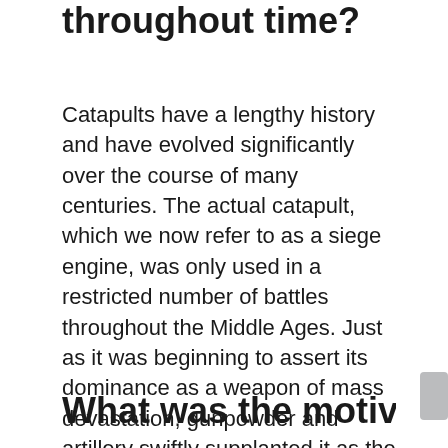throughout time?
Catapults have a lengthy history and have evolved significantly over the course of many centuries. The actual catapult, which we now refer to as a siege engine, was only used in a restricted number of battles throughout the Middle Ages. Just as it was beginning to assert its dominance as a weapon of mass devastation, gunpowder and artillery swiftly supplanted it as the preferred method of destruction.
What was the motivation